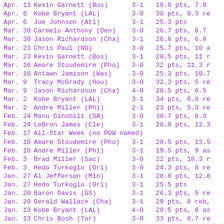| Date | Player | Record | Stats |
| --- | --- | --- | --- |
| Apr. 13 | Kevin Garnett (Bos) | 3-1 | 19.8 pts, 7.8 |
| Apr. 6 | Kobe Bryant (LAL) | 3-0 | 30 pts, 9.3 re |
| Apr. 6 | Joe Johnson (Atl) | 3-1 | 25.3 pts |
| Mar. 30 | Carmelo Anthony (Den) | 3-0 | 26.7 pts, 8.7 |
| Mar. 30 | Jason Richardson (Cha) | 3-1 | 26.8 pts, 6.8 |
| Mar. 23 | Chris Paul (NO) | 3-0 | 25.7 pts, 10 a |
| Mar. 23 | Kevin Garnett (Bos) | 3-1 | 20.5 pts, 11 r |
| Mar. 16 | Amare Stoudemire (Pho) | 3-0 | 32 pts, 11.3 r |
| Mar. 16 | Antawn Jamison (Was) | 3-0 | 25.3 pts, 10.7 |
| Mar. 9 | Tracy McGrady (Hou) | 3-0 | 32.3 pts, 5 re |
| Mar. 9 | Jason Richardson (Cha) | 4-0 | 28.5 pts, 6.5 |
| Mar. 2 | Kobe Bryant (LAL) | 3-1 | 34 pts, 6.8 re |
| Mar. 2 | Andre Miller (Phi) | 2-1 | 23 pts, 5.3 re |
| Feb. 24 | Manu Ginobili (SA) | 3-0 | 30.7 pts, 6.3 |
| Feb. 24 | LeBron James (Cle) | 3-1 | 28.8 pts, 12.3 |
| Feb. 17 | All-Star Week (no POW named) |  |  |
| Feb. 10 | Amare Stoudemire (Pho) | 3-1 | 28.5 pts, 13.5 |
| Feb. 10 | Andre Miller (Phi) | 3-1 | 19.5 pts, 9 as |
| Feb. 3 | Brad Miller (Sac) | 3-0 | 22 pts, 18.3 r |
| Feb. 3 | Hedo Turkoglu (Orl) | 3-0 | 24.3 pts, 8 re |
| Jan. 27 | Al Jefferson (Min) | 3-1 | 28.8 pts, 12.8 |
| Jan. 27 | Hedo Turkoglu (Orl) | 3-1 | 25.5 pts |
| Jan. 20 | Baron Davis (GS) | 3-1 | 26.3 pts, 5 re |
| Jan. 20 | Gerald Wallace (Cha) | 3-1 | 29 pts, 8 reb, |
| Jan. 13 | Kobe Bryant (LAL) | 4-0 | 29.5 pts, 6 as |
| Jan. 13 | Chris Bosh (Tor) | 3-0 | 33 pts, 8.7 re |
| Jan. 6 | Allen Iverson (Den) | 3-0 | 33 pts |
| Jan. 6 | LeBron James (Cle) | 3-0 | 33 pts, 8 reb, |
| Dec. 30 | Chris Paul (NO) | 3-0 | 25.7 pts, 9.7 |
| Dec. 30 | Paul Pierce (Bos) | 4-0 | 27.5 pts, 6 re |